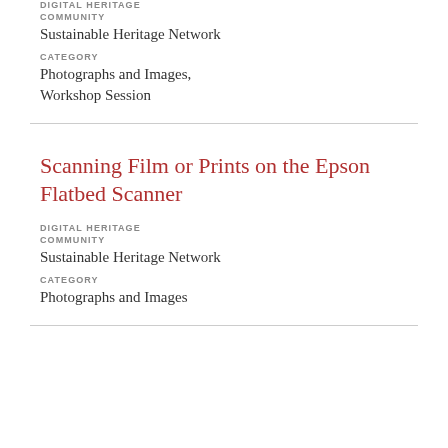DIGITAL HERITAGE
COMMUNITY
Sustainable Heritage Network
CATEGORY
Photographs and Images, Workshop Session
Scanning Film or Prints on the Epson Flatbed Scanner
DIGITAL HERITAGE
COMMUNITY
Sustainable Heritage Network
CATEGORY
Photographs and Images